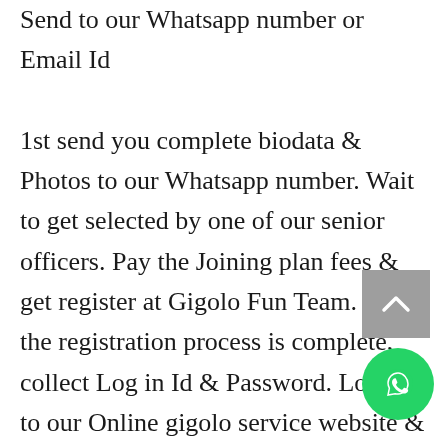Send to our Whatsapp number or Email Id

1st send you complete biodata & Photos to our Whatsapp number. Wait to get selected by one of our senior officers. Pay the Joining plan fees & get register at Gigolo Fun Team. After the registration process is complete, collect Log in Id & Password. Log in to our Online gigolo service website & start to find your female clients. Otherwise, our agent will arrange to customize gigolo call boy cl services in local areas. You will get